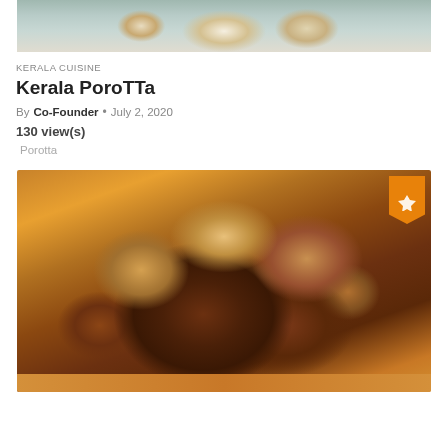[Figure (photo): Top portion of a food photo, partially cropped, showing Kerala Porotta flatbread on a plate with a blue-green background]
KERALA CUISINE
Kerala PoroTTa
By Co-Founder • July 2, 2020
130 view(s)
Porotta
[Figure (photo): Photo of spiced and fried chicken drumsticks in a metal bowl on a wooden table, with an orange badge/ribbon in the top-right corner]